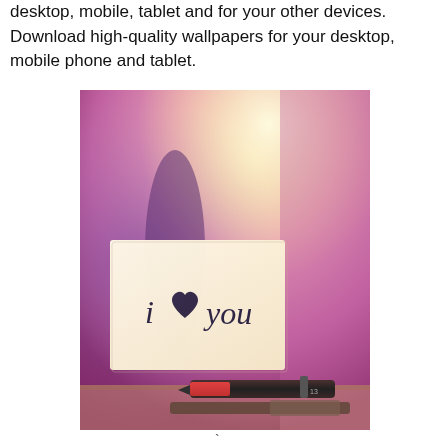desktop, mobile, tablet and for your other devices. Download high-quality wallpapers for your desktop, mobile phone and tablet.
[Figure (photo): A romantic photo of a sticky note with 'i ♥ you' written on it, placed on a surface next to a pen/marker, with a soft pink and purple bokeh background.]